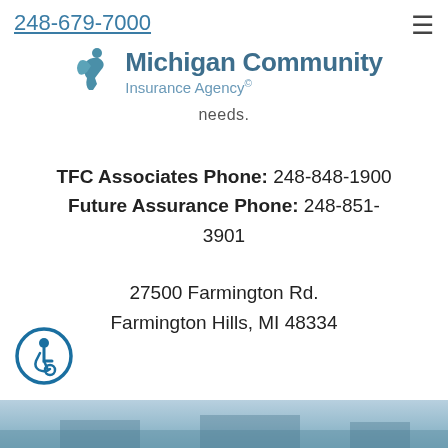248-679-7000
[Figure (logo): Michigan Community Insurance Agency logo with stylized figure icon in teal/blue and text 'Michigan Community Insurance Agency' with registered trademark symbol]
needs.
TFC Associates Phone: 248-848-1900
Future Assurance Phone: 248-851-3901
27500 Farmington Rd.
Farmington Hills, MI 48334
[Figure (illustration): Accessibility icon button — circular blue outlined button with wheelchair user symbol]
[Figure (photo): Partial blue-tinted landscape or building image at bottom of page]